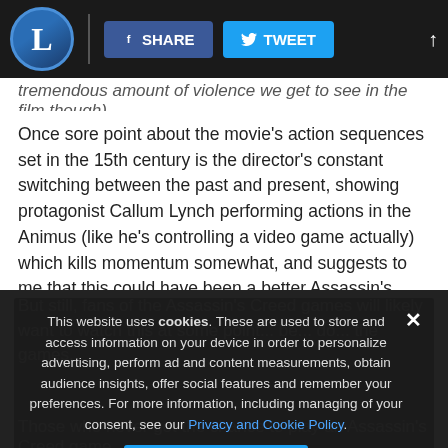L | SHARE | TWEET
tremendous amount of violence we get to see in the film though).
Once sore point about the movie’s action sequences set in the 15th century is the director’s constant switching between the past and present, showing protagonist Callum Lynch performing actions in the Animus (like he’s controlling a video game actually) which kills momentum somewhat, and suggests to me that this could have been a better Assassin’s Creed film if it had focused more on its historical settings like the video games did.
But still, fans of the Assassin’s Creed games will likely want to watch this at some point. The action may be a bit bloated, but it’s beautiful to look at, and the movie clearly has a lot of do with the lore of the games.
This website uses cookies. These are used to store and access information on your device in order to personalize advertising, perform ad and content measurements, obtain audience insights, offer social features and remember your preferences. For more information, including managing of your consent, see our Privacy and Cookie Policy.
Those who never got the chance to play an Assassin’s Creed game,